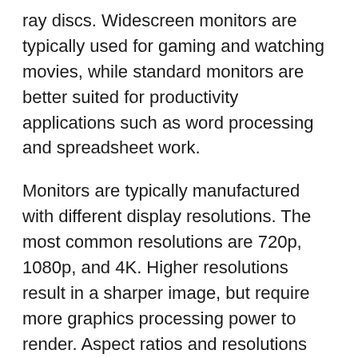ray discs. Widescreen monitors are typically used for gaming and watching movies, while standard monitors are better suited for productivity applications such as word processing and spreadsheet work.
Monitors are typically manufactured with different display resolutions. The most common resolutions are 720p, 1080p, and 4K. Higher resolutions result in a sharper image, but require more graphics processing power to render. Aspect ratios and resolutions can be changed by adjusting the monitor's settings.
Most monitors use a digital interface, which transmits data in digital form from the computer to the monitor. The most common digital interface is DVI, which is used on most